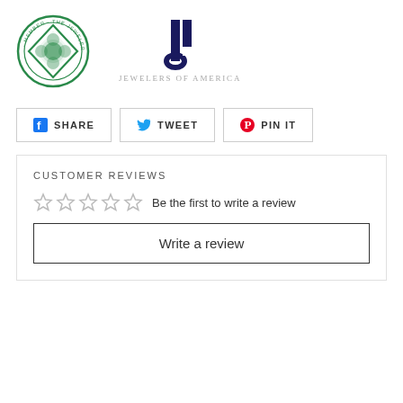[Figure (logo): Jewelers Board of Trade member circular seal logo in green]
[Figure (logo): Jewelers of America logo - dark blue stylized J icon above text JEWELERS OF AMERICA in gray spaced caps]
[Figure (infographic): Three social sharing buttons: Facebook SHARE, Twitter TWEET, Pinterest PIN IT]
CUSTOMER REVIEWS
Be the first to write a review
Write a review